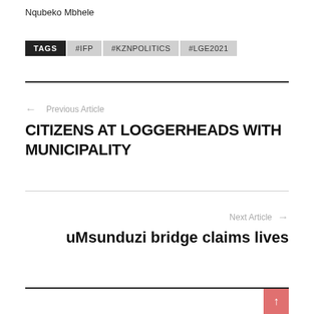Nqubeko Mbhele
TAGS  #IFP  #KZNPOLITICS  #LGE2021
← Previous Article
CITIZENS AT LOGGERHEADS WITH MUNICIPALITY
Next Article →
uMsunduzi bridge claims lives